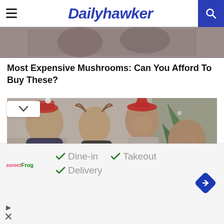Dailyhawker
[Figure (photo): Cropped top portion of a photo, partially visible]
Most Expensive Mushrooms: Can You Afford To Buy These?
[Figure (photo): Group of four young adults celebrating Christmas indoors, wearing holiday sweaters and Santa hats, holding drinks and smiling]
[Figure (infographic): Advertisement for sweetFrog showing dine-in, takeout, and delivery options with green checkmarks and a navigation icon]